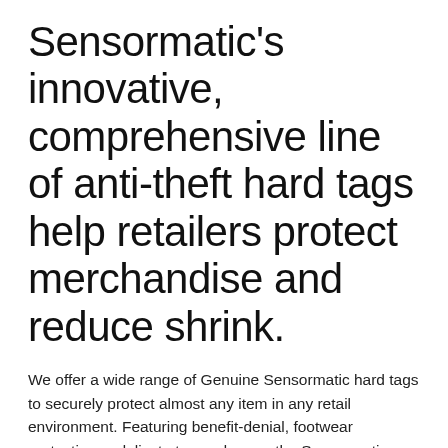Sensormatic's innovative, comprehensive line of anti-theft hard tags help retailers protect merchandise and reduce shrink.
We offer a wide range of Genuine Sensormatic hard tags to securely protect almost any item in any retail environment. Featuring benefit-denial, footwear protection, a delicate tag and more, the Sensormatic hard tag portfolio addresses and protects many high-risk product categories. Sensormatic hard tags are available in three innovative technologies: Acousto Magnetic (AM) for excellent electrical